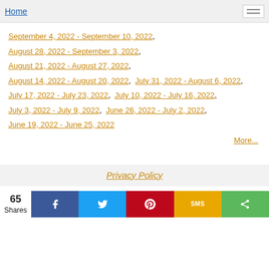Home
September 4, 2022 - September 10, 2022,
August 28, 2022 - September 3, 2022,
August 21, 2022 - August 27, 2022,
August 14, 2022 - August 20, 2022,  July 31, 2022 - August 6, 2022,
July 17, 2022 - July 23, 2022,  July 10, 2022 - July 16, 2022,
July 3, 2022 - July 9, 2022,  June 26, 2022 - July 2, 2022,
June 19, 2022 - June 25, 2022
More...
Privacy Policy
65 Shares